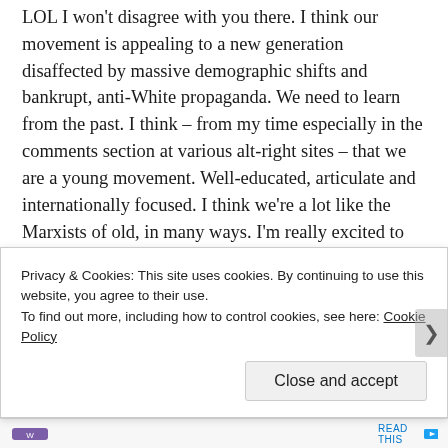LOL I won't disagree with you there. I think our movement is appealing to a new generation disaffected by massive demographic shifts and bankrupt, anti-White propaganda. We need to learn from the past. I think – from my time especially in the comments section at various alt-right sites – that we are a young movement. Well-educated, articulate and internationally focused. I think we're a lot like the Marxists of old, in many ways. I'm really excited to be in a vibrant – ha! – movement. We have fellowship, new ideas and old ones. It's an exciting time.
So to answer your question, I think we can make something that is more broadly appealing than thew
Privacy & Cookies: This site uses cookies. By continuing to use this website, you agree to their use.
To find out more, including how to control cookies, see here: Cookie Policy
Close and accept